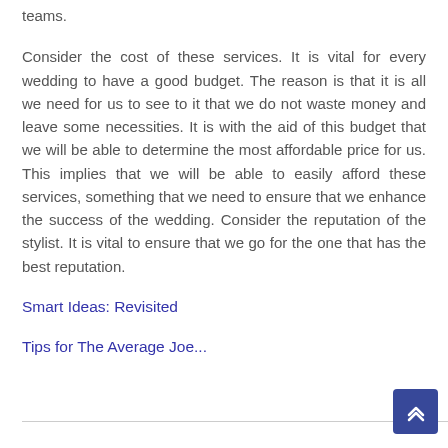teams.
Consider the cost of these services. It is vital for every wedding to have a good budget. The reason is that it is all we need for us to see to it that we do not waste money and leave some necessities. It is with the aid of this budget that we will be able to determine the most affordable price for us. This implies that we will be able to easily afford these services, something that we need to ensure that we enhance the success of the wedding. Consider the reputation of the stylist. It is vital to ensure that we go for the one that has the best reputation.
Smart Ideas: Revisited
Tips for The Average Joe...